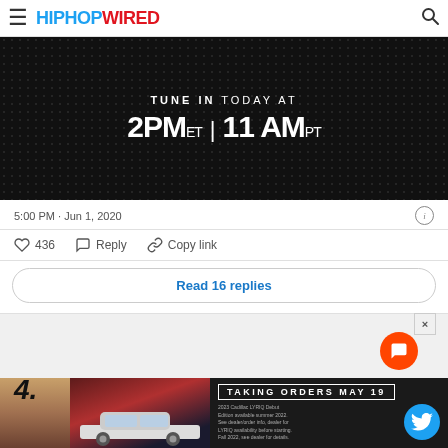HIPHOPWIRED
[Figure (screenshot): Tweet screenshot showing a dark dotted background image with text 'TUNE IN TODAY AT 2PM ET | 11 AM PT']
5:00 PM · Jun 1, 2020
436  Reply  Copy link
Read 16 replies
4.
[Figure (screenshot): Advertisement banner for Cadillac LYRIQ EV with text 'TAKING ORDERS MAY 19']